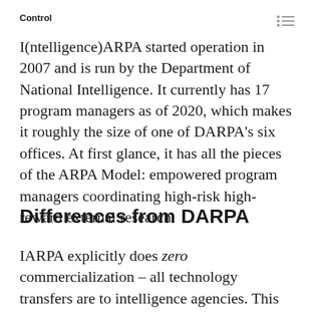Control
I(ntelligence)ARPA started operation in 2007 and is run by the Department of National Intelligence. It currently has 17 program managers as of 2020, which makes it roughly the size of one of DARPA's six offices. At first glance, it has all the pieces of the ARPA Model: empowered program managers coordinating high-risk high-reward external research.
Differences from DARPA
IARPA explicitly does zero commercialization – all technology transfers are to intelligence agencies. This stands in contrast to DARPA which transfers to large companies and the